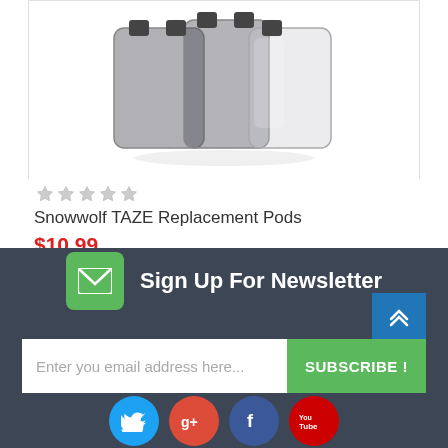[Figure (photo): Photo of Snowwolf TAZE replacement pods — dark smoky translucent pod cartridges]
★★★★★ (empty stars rating)
Snowwolf TAZE Replacement Pods
$10.99
Sign Up For Newsletter
Enter you email address here...
SUBSCRIBE !